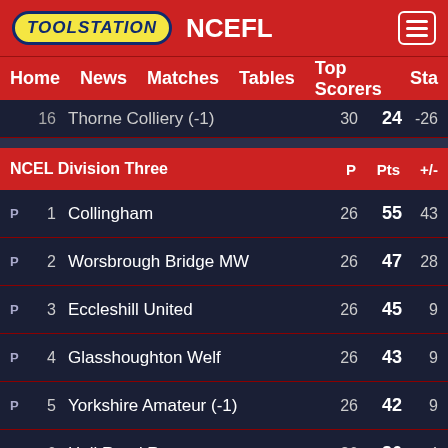TOOLSTATION NCEFL
Home  News  Matches  Tables  Top Scorers  Sta
|  | # | Team | P | Pts | +/- |
| --- | --- | --- | --- | --- | --- |
|  | 16 | Thorne Colliery (-1) | 30 | 24 | -26 |
| NCEL Division Three |  |  | P | Pts | +/- |
| P | 1 | Collingham | 26 | 55 | 43 |
| P | 2 | Worsbrough Bridge MW | 26 | 47 | 28 |
| P | 3 | Eccleshill United | 26 | 45 | 9 |
| P | 4 | Glasshoughton Welf | 26 | 43 | 9 |
| P | 5 | Yorkshire Amateur (-1) | 26 | 42 | 9 |
| P | 6 | Hall Road Rangers | 26 | 36 | 4 |
|  | 7 | Oakham United | 26 | 36 | 3 |
|  | 8 | Graham St Prims | 26 | 35 | 2 |